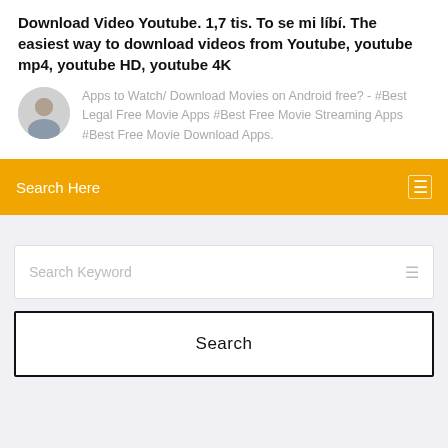Download Video Youtube. 1,7 tis. To se mi líbí. The easiest way to download videos from Youtube, youtube mp4, youtube HD, youtube 4K
Apps to Watch/ Download Movies on Android free? - #Best Legal Free Movie Apps #Best Free Movie Streaming Apps #Best Free Movie Download Apps.
Search Here
Search Keyword
Search